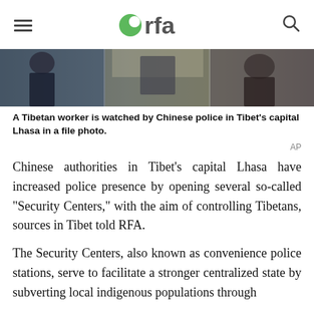RFA (Radio Free Asia) website header with hamburger menu, RFA logo, and search icon
[Figure (photo): A Tibetan worker watched by Chinese police in Tibet's capital Lhasa, file photo. Shows people on a street with police presence.]
A Tibetan worker is watched by Chinese police in Tibet's capital Lhasa in a file photo.
AP
Chinese authorities in Tibet's capital Lhasa have increased police presence by opening several so-called “Security Centers,” with the aim of controlling Tibetans, sources in Tibet told RFA.
The Security Centers, also known as convenience police stations, serve to facilitate a stronger centralized state by subverting local indigenous populations through